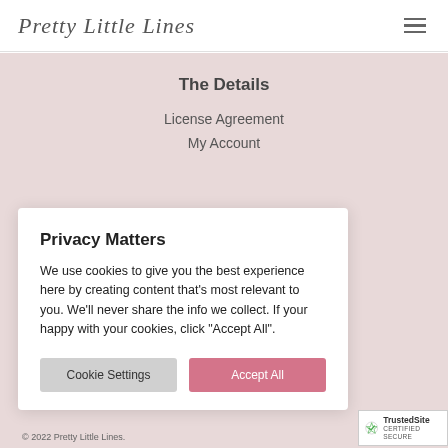Pretty Little Lines
The Details
License Agreement
My Account
Privacy Matters
We use cookies to give you the best experience here by creating content that's most relevant to you. We'll never share the info we collect. If your happy with your cookies, click "Accept All".
Cookie Settings | Accept All
© 2022 Pretty Little Lines.